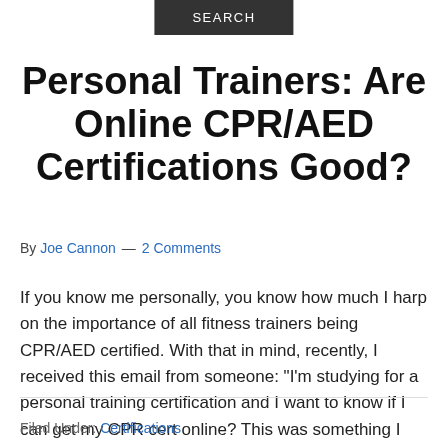SEARCH
Personal Trainers: Are Online CPR/AED Certifications Good?
By Joe Cannon — 2 Comments
If you know me personally, you know how much I harp on the importance of all fitness trainers being CPR/AED certified. With that in mind, recently, I received this email from someone: “I’m studying for a personal training certification and I want to know if I can get my CPR cert online? This was something I […]
Filed Under: Certifications